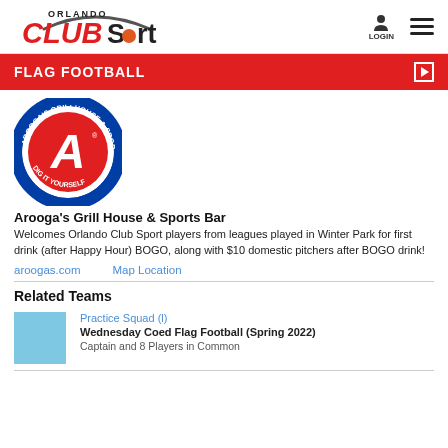Orlando CLUBSport
FLAG FOOTBALL
[Figure (logo): Arooga's Grillhouse & Sports Bar circular logo with large red A]
Arooga's Grill House & Sports Bar
Welcomes Orlando Club Sport players from leagues played in Winter Park for first drink (after Happy Hour) BOGO, along with $10 domestic pitchers after BOGO drink!
aroogas.com    Map Location
Related Teams
[Figure (other): Light blue team color square]
Practice Squad (l)
Wednesday Coed Flag Football (Spring 2022)
Captain and 8 Players in Common